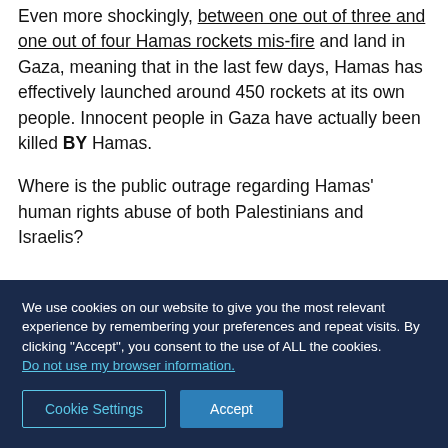Even more shockingly, between one out of three and one out of four Hamas rockets mis-fire and land in Gaza, meaning that in the last few days, Hamas has effectively launched around 450 rockets at its own people. Innocent people in Gaza have actually been killed BY Hamas.
Where is the public outrage regarding Hamas' human rights abuse of both Palestinians and Israelis?
We use cookies on our website to give you the most relevant experience by remembering your preferences and repeat visits. By clicking "Accept", you consent to the use of ALL the cookies. Do not use my browser information.